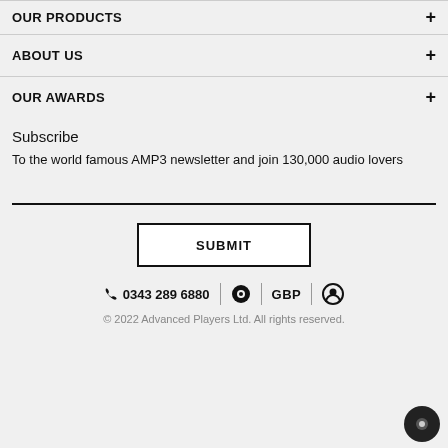OUR PRODUCTS
ABOUT US
OUR AWARDS
Subscribe
To the world famous AMP3 newsletter and join 130,000 audio lovers
SUBMIT
0343 289 6880 | GBP
© 2022 Advanced Players Ltd. All rights reserved.